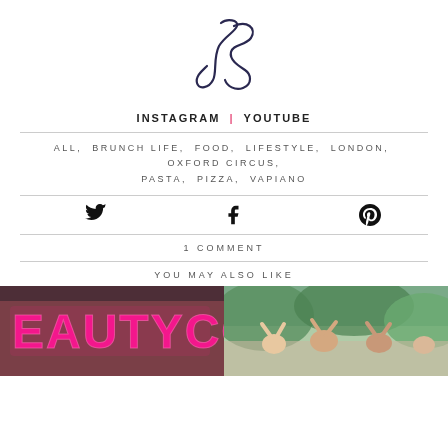[Figure (logo): Cursive JS monogram logo in dark navy ink]
INSTAGRAM | YOUTUBE
ALL, BRUNCH LIFE, FOOD, LIFESTYLE, LONDON, OXFORD CIRCUS, PASTA, PIZZA, VAPIANO
[Figure (infographic): Twitter, Facebook, Pinterest share icons]
1 COMMENT
YOU MAY ALSO LIKE
[Figure (photo): Pink neon BEAUTYCO sign on brick wall]
[Figure (photo): People celebrating outdoors with green foliage background]